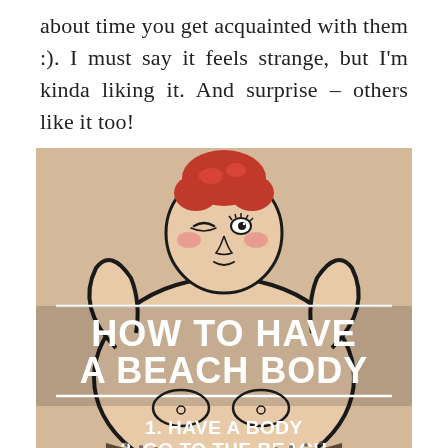about time you get acquainted with them :). I must say it feels strange, but I'm kinda liking it. And surprise – others like it too!
[Figure (illustration): Illustration of a cartoon woman with red hair in a bun, hands behind her head, with text overlay reading 'HOW TO HAVE A BEACH BODY' followed by '1. HAVE A BODY 2. GO TO THE BEACH']